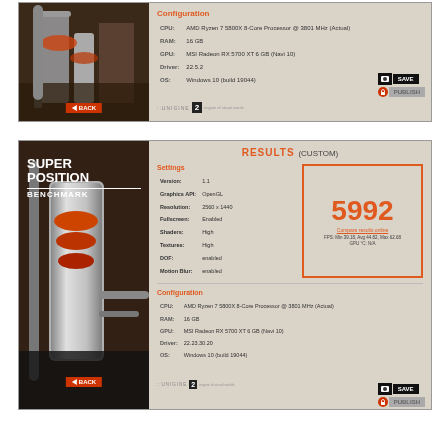[Figure (screenshot): Unigine Superposition Benchmark results screenshot (top) showing Configuration panel with CPU: AMD Ryzen 7 5800X 8-Core Processor @ 3801 MHz (Actual), RAM: 16 GB, GPU: MSI Radeon RX 5700 XT 6GB (Navi 10), Driver: 22.5.2, OS: Windows 10 (build 19044). Buttons for camera, SAVE, and PUBLISH visible.]
[Figure (screenshot): Unigine Superposition Benchmark RESULTS (CUSTOM) screenshot showing score of 5992. Settings: Version 1.1, Graphics API OpenGL, Resolution 2560x1440, Fullscreen Enabled, Shaders High, Textures High, DOF enabled, Motion Blur enabled. FPS: Min 39.18, Avg 44.82, Max 62.68, GPU C: N/A. Configuration: CPU AMD Ryzen 7 5800X 8-Core Processor @ 3801 MHz (Actual), RAM 16 GB, GPU MSI Radeon RX 5700 XT 6GB (Navi 10), Driver 22.23.30.20, OS Windows 10 (build 19044).]